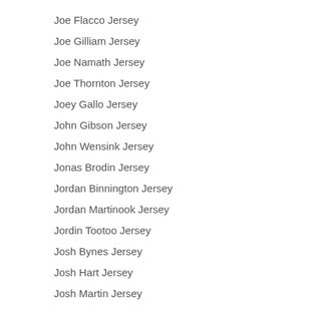Joe Flacco Jersey
Joe Gilliam Jersey
Joe Namath Jersey
Joe Thornton Jersey
Joey Gallo Jersey
John Gibson Jersey
John Wensink Jersey
Jonas Brodin Jersey
Jordan Binnington Jersey
Jordan Martinook Jersey
Jordin Tootoo Jersey
Josh Bynes Jersey
Josh Hart Jersey
Josh Martin Jersey